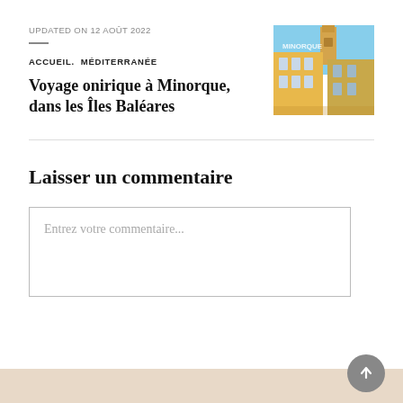UPDATED ON 12 AOÛT 2022
ACCUEIL,  MÉDITERRANÉE
Voyage onirique à Minorque, dans les Îles Baléares
[Figure (photo): Thumbnail photo of colorful Mediterranean buildings in Minorque with a bell tower visible, warm yellow and orange tones]
Laisser un commentaire
Entrez votre commentaire...